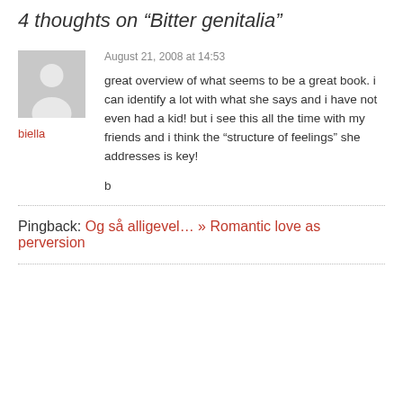4 thoughts on "Bitter genitalia"
[Figure (illustration): Generic user avatar placeholder in gray]
biella
August 21, 2008 at 14:53
great overview of what seems to be a great book. i can identify a lot with what she says and i have not even had a kid! but i see this all the time with my friends and i think the “structure of feelings” she addresses is key!
b
Pingback: Og så alligevel… » Romantic love as perversion